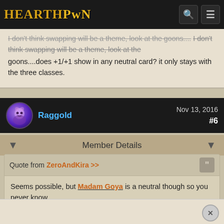HearthPwn
I don't think swapping will be a theme, look at the goons....does +1/+1 show in any neutral card? it only stays with the three classes.
Raggold  Nov 13, 2016  #6
Member Details
Quote from ZeroAndKira >>
Seems possible, but Madam Goya is a neutral though so you never know.
Dopplegangster is a neutral, and it has High synergy with goon